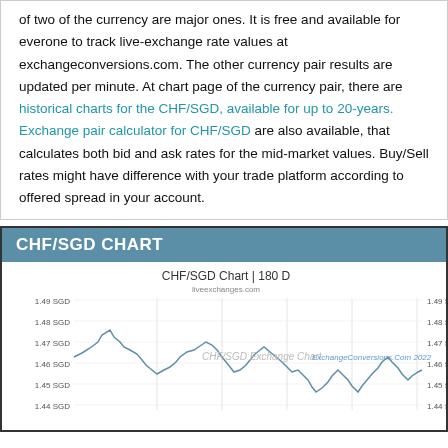of two of the currency are major ones. It is free and available for everone to track live-exchange rate values at exchangeconversions.com. The other currency pair results are updated per minute. At chart page of the currency pair, there are historical charts for the CHF/SGD, available for up to 20-years. Exchange pair calculator for CHF/SGD are also available, that calculates both bid and ask rates for the mid-market values. Buy/Sell rates might have difference with your trade platform according to offered spread in your account.
CHF/SGD CHART
[Figure (continuous-plot): Line chart showing CHF/SGD exchange rate over 180 days, with watermark 'CHF/SGD Exchange Chart' and 'ExchangeConversions.Com 2022'. Y-axis labels from approximately 1.44 SGD to 1.49 SGD on both left and right sides. liveexchanges.com shown as subtitle.]